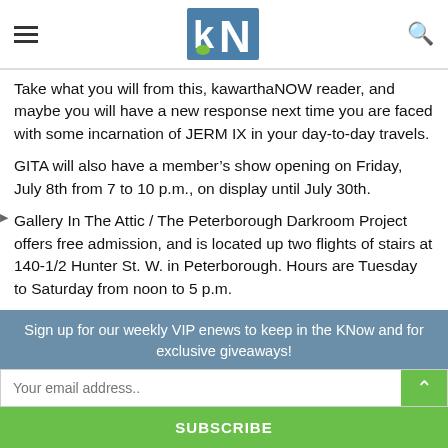kawarthaNOW logo with hamburger menu and search icon
Take what you will from this, kawarthaNOW reader, and maybe you will have a new response next time you are faced with some incarnation of JERM IX in your day-to-day travels.
GITA will also have a member’s show opening on Friday, July 8th from 7 to 10 p.m., on display until July 30th.
Gallery In The Attic / The Peterborough Darkroom Project offers free admission, and is located up two flights of stairs at 140-1/2 Hunter St. W. in Peterborough. Hours are Tuesday to Saturday from noon to 5 p.m.
Sign up for our weekly VIP enews to keep in the KNow and for exclusive giveaways!
Your email address..
SUBSCRIBE